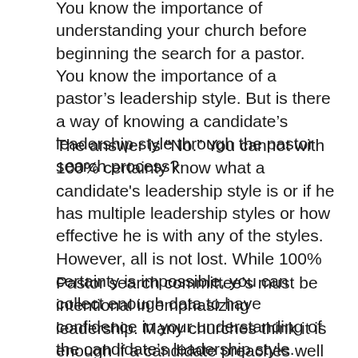You know the importance of understanding your church before beginning the search for a pastor. You know the importance of a pastor's leadership style. But is there a way of knowing a candidate's leadership style through the pastor search process?
The answer is “No.” You cannot with 100% certainty know what a candidate's leadership style is or if he has multiple leadership styles or how effective he is with any of the styles. However, all is not lost. While 100% certainty is impossible, you can collect enough data to have confidence in your understanding of the candidate's leadership style.
Pastor search committee’s must be intentional in emphasizing leadership. Many churches think it is enough if a candidate preaches well and seems like a good Christian. Scripture gives qualifications for a pastor, but leadership style is not addressed directly. Some people might argue that pastors should follow